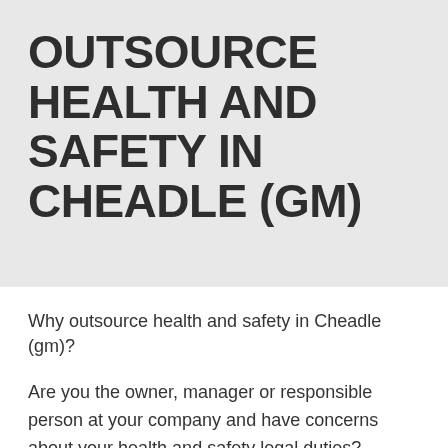OUTSOURCE HEALTH AND SAFETY IN CHEADLE (GM)
Why outsource health and safety in Cheadle (gm)?
Are you the owner, manager or responsible person at your company and have concerns about your health and safety legal duties?
Would you like to be sure that you are covered and have everything in place as required by health and safety law?